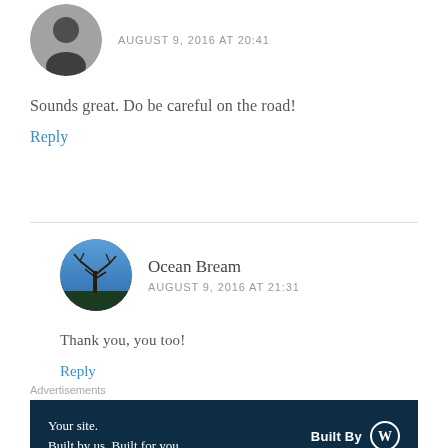[Figure (photo): Round avatar photo of a person, grayscale/dark, positioned top-left]
AUGUST 9, 2016 AT 20:41
Sounds great. Do be careful on the road!
Reply
[Figure (photo): Round avatar photo showing a bare tree against a blue sky]
Ocean Bream
AUGUST 9, 2016 AT 21:31
Thank you, you too!
Reply
Advertisements
[Figure (infographic): Dark navy advertisement banner: 'Your site. Built by us. Built for you.' with 'Built By' and WordPress logo on the right]